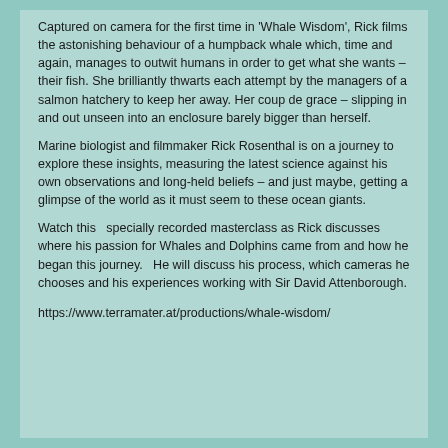Captured on camera for the first time in 'Whale Wisdom', Rick films the astonishing behaviour of a humpback whale which, time and again, manages to outwit humans in order to get what she wants – their fish. She brilliantly thwarts each attempt by the managers of a salmon hatchery to keep her away. Her coup de grace – slipping in and out unseen into an enclosure barely bigger than herself.
Marine biologist and filmmaker Rick Rosenthal is on a journey to explore these insights, measuring the latest science against his own observations and long-held beliefs – and just maybe, getting a glimpse of the world as it must seem to these ocean giants.
Watch this  specially recorded masterclass as Rick discusses where his passion for Whales and Dolphins came from and how he began this journey.  He will discuss his process, which cameras he chooses and his experiences working with Sir David Attenborough.
https://www.terramater.at/productions/whale-wisdom/